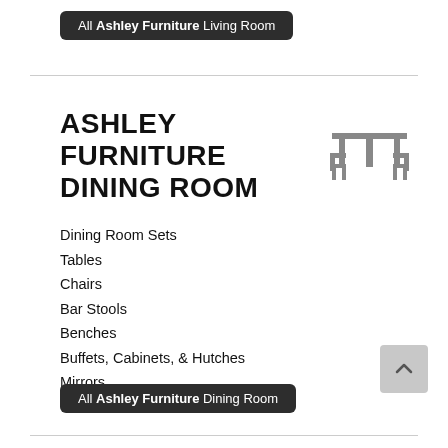All Ashley Furniture Living Room
ASHLEY FURNITURE DINING ROOM
[Figure (illustration): Icon of a dining table with two chairs, rendered in grey line art]
Dining Room Sets
Tables
Chairs
Bar Stools
Benches
Buffets, Cabinets, & Hutches
Mirrors
All Ashley Furniture Dining Room